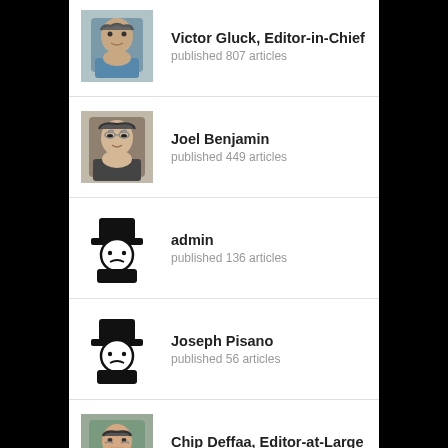Victor Gluck, Editor-in-Chief — published 807 articles
Joel Benjamin — published 449 articles
admin — published 136 articles
Joseph Pisano — published 56 articles
Chip Deffaa, Editor-at-Large — published 56 articles